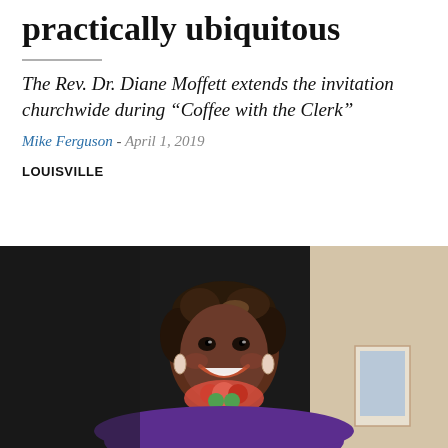practically ubiquitous
The Rev. Dr. Diane Moffett extends the invitation churchwide during “Coffee with the Clerk”
Mike Ferguson - April 1, 2019
LOUISVILLE
[Figure (photo): Photo of Rev. Dr. Diane Moffett smiling, wearing a purple outfit with a floral accessory, seated in an office setting with a dark screen in the background and a framed photo visible to the right.]